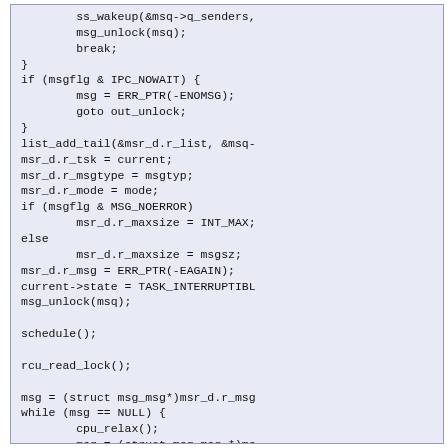[Figure (screenshot): Source code screenshot showing C code fragment with message queue operations including IPC_NOWAIT check, list_add_tail, msr_d structure assignments, schedule(), rcu_read_lock(), and while loop with cpu_relax().]